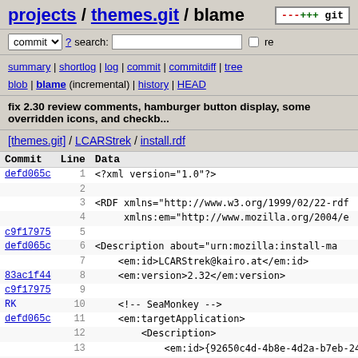projects / themes.git / blame
commit ? search: re
summary | shortlog | log | commit | commitdiff | tree
blob | blame (incremental) | history | HEAD
fix 2.30 review comments, hamburger button display, some overridden icons, and checkb...
[themes.git] / LCARStrek / install.rdf
| Commit | Line | Data |
| --- | --- | --- |
| defd065c | 1 | <?xml version="1.0"?> |
|  | 2 |  |
|  | 3 | <RDF xmlns="http://www.w3.org/1999/02/22-rdf |
|  | 4 |      xmlns:em="http://www.mozilla.org/2004/e |
| c9f17975 | 5 |  |
| defd065c | 6 | <Description about="urn:mozilla:install-ma |
|  | 7 |     <em:id>LCARStrek@kairo.at</em:id> |
| 83ac1f44 | 8 |     <em:version>2.32</em:version> |
| c9f17975 | 9 |  |
| RK | 10 |     <!-- SeaMonkey --> |
| defd065c | 11 |     <em:targetApplication> |
|  | 12 |         <Description> |
|  | 13 |             <em:id>{92650c4d-4b8e-4d2a-b7eb-24ec |
| 83ac1f44 | 14 |             <em:minVersion>2.32</em:minVersion> |
| 4f445170 | 15 |             <em:maxVersion>2.35a1</em:maxVersion |
| 319c6529 | 16 |         </Description> |
| RK | 17 |     </em:targetApplication> |